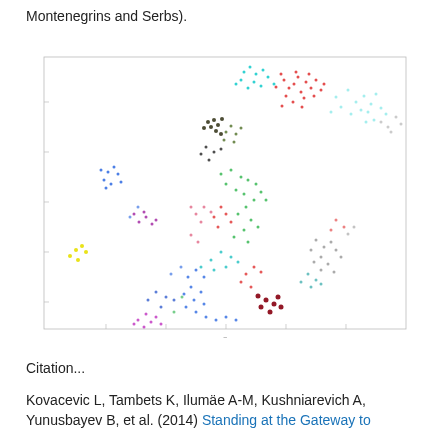Montenegrins and Serbs).
[Figure (continuous-plot): A scatter plot showing multicolored clusters of genetic data points distributed in an irregular pattern across a white background with light gray axis lines. Points appear in many colors including red, blue, green, cyan, magenta, dark/black, yellow, and purple, forming several distinct and diffuse clusters across the plot area.]
Citation...
Kovacevic L, Tambets K, Ilumäe A-M, Kushniarevich A, Yunusbayev B, et al. (2014) Standing at the Gateway to